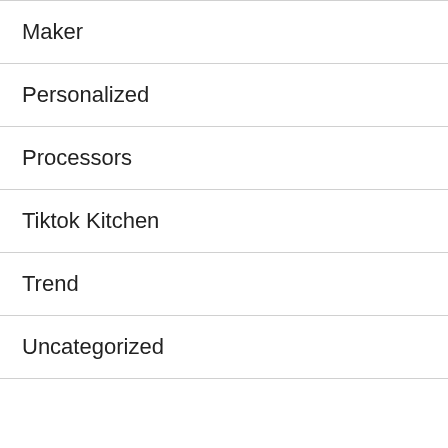Maker
Personalized
Processors
Tiktok Kitchen
Trend
Uncategorized
PAGES